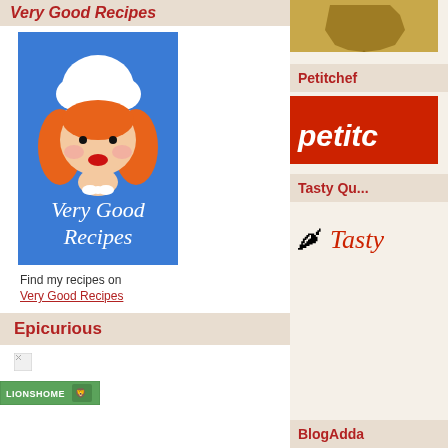Very Good Recipes
[Figure (illustration): Very Good Recipes logo: cartoon female chef with red hair and white hat on blue background with italic text 'Very Good Recipes']
Find my recipes on
Very Good Recipes
Epicurious
[Figure (logo): Small broken image placeholder]
[Figure (logo): LIONSHOME badge/banner]
[Figure (map): Map of India on gold/tan background (right column, top)]
Petitchef
[Figure (logo): Petitchef red banner logo with italic white text 'petitc...']
Tasty Qu...
[Figure (logo): Tasty Query logo with chili pepper icon and italic red script text 'Tasty']
BlogAdda